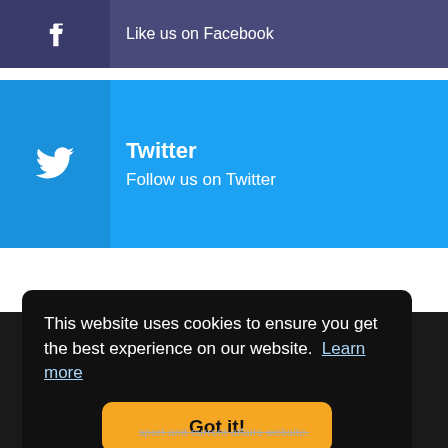[Figure (illustration): Facebook social media bar with Facebook icon and text 'Like us on Facebook' on a dark blue/purple background]
[Figure (illustration): Twitter social media bar with Twitter bird icon, title 'Twitter' and text 'Follow us on Twitter' on a bright blue background]
This website uses cookies to ensure you get the best experience on our website. Learn more
Got it!
sport and current affairs website.